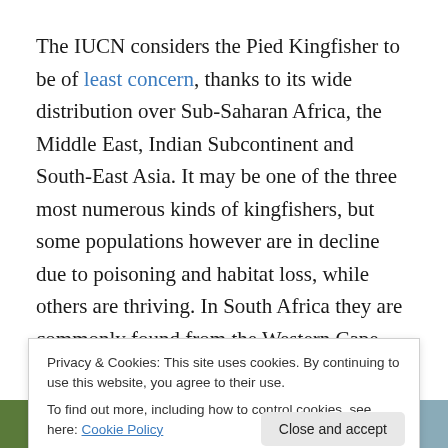The IUCN considers the Pied Kingfisher to be of least concern, thanks to its wide distribution over Sub-Saharan Africa, the Middle East, Indian Subcontinent and South-East Asia. It may be one of the three most numerous kinds of kingfishers, but some populations however are in decline due to poisoning and habitat loss, while others are thriving. In South Africa they are commonly found from the Western Cape and along the coast and adjacent interior of the Eastern Cape, through Kwazulu-Natal into
Privacy & Cookies: This site uses cookies. By continuing to use this website, you agree to their use.
To find out more, including how to control cookies, see here: Cookie Policy
[Figure (photo): Two partial photo thumbnails at the bottom of the page — left shows greenery, right shows a waterscape or coastal scene.]